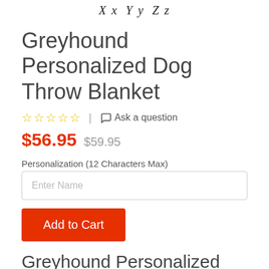[Figure (logo): Stylized italic script logo reading 'Xx Yy Zz' in cursive font]
Greyhound Personalized Dog Throw Blanket
☆☆☆☆☆  |  Ask a question
$56.95  $59.95
Personalization (12 Characters Max)
Enter Name
Add to Cart
Greyhound Personalized Pet